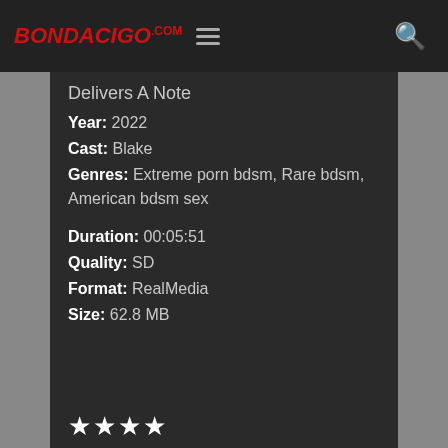BondageGo.com
Delivers A Note
Year: 2022
Cast: Blake
Genres: Extreme porn bdsm, Rare bdsm, American bdsm sex
Duration: 00:05:51
Quality: SD
Format: RealMedia
Size: 62.8 MB
★★★★